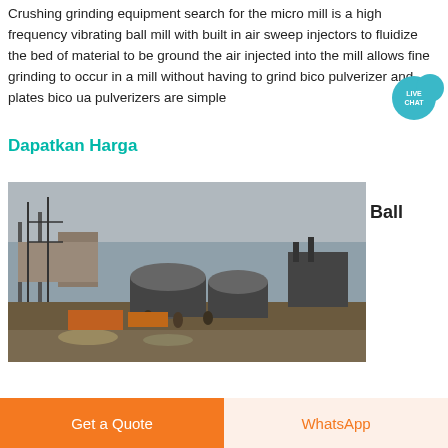Crushing grinding equipment search for the micro mill is a high frequency vibrating ball mill with built in air sweep injectors to fluidize the bed of material to be ground the air injected into the mill allows fine grinding to occur in a mill without having to grind bico pulverizer and plates bico ua pulverizers are simple
Dapatkan Harga
[Figure (photo): Industrial photo showing ball mill equipment and construction machinery at a site near water, with workers visible in the foreground and heavy equipment in the background.]
Ball
Get a Quote
WhatsApp